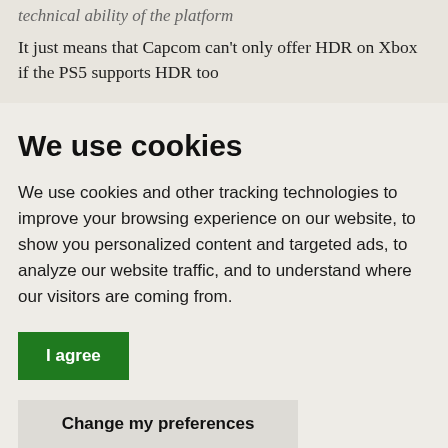technical ability of the platform
It just means that Capcom can't only offer HDR on Xbox if the PS5 supports HDR too
We use cookies
We use cookies and other tracking technologies to improve your browsing experience on our website, to show you personalized content and targeted ads, to analyze our website traffic, and to understand where our visitors are coming from.
I agree
Change my preferences